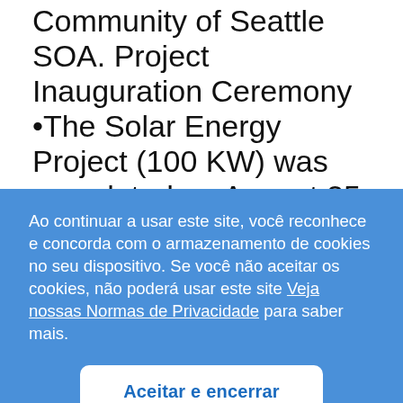Community of Seattle SOA. Project Inauguration Ceremony •The Solar Energy Project (100 KW) was completed on August 25, 2021. The Project was
Ao continuar a usar este site, você reconhece e concorda com o armazenamento de cookies no seu dispositivo. Se você não aceitar os cookies, não poderá usar este site Veja nossas Normas de Privacidade para saber mais.
Aceitar e encerrar